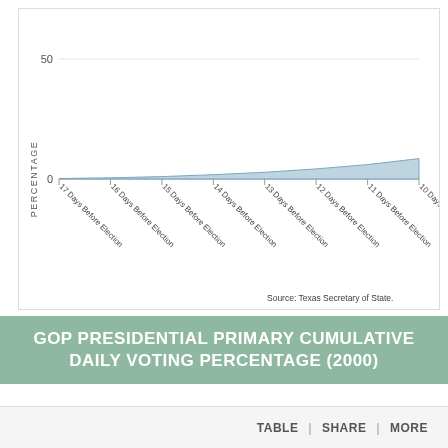[Figure (area-chart): ]
GOP PRESIDENTIAL PRIMARY CUMULATIVE DAILY VOTING PERCENTAGE (2000)
TABLE | SHARE | MORE